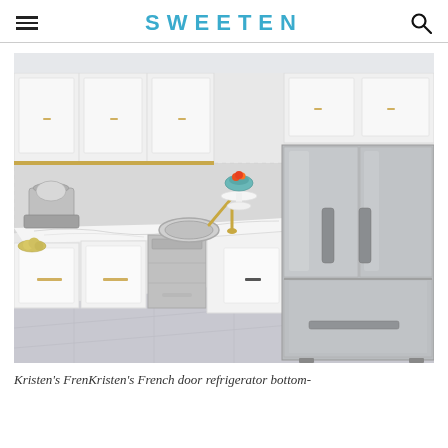SWEETEN
[Figure (photo): Kitchen interior with white shaker cabinets, marble-look countertops, stainless steel French door bottom-freezer refrigerator, round undermount sink with gold faucet, hexagon tile backsplash, and small kitchen appliances including a food processor.]
Kristen's FrenKristen's French door refrigerator bottom-